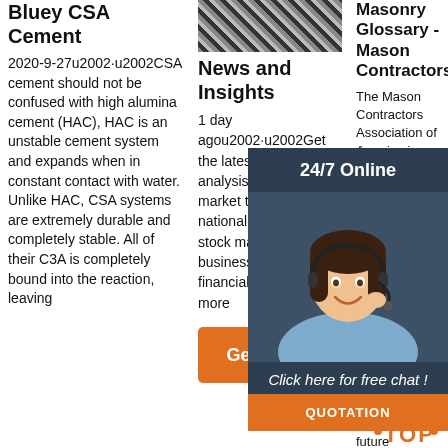Bluey CSA Cement
2020-9-27u2002·u2002CSA cement should not be confused with high alumina cement (HAC), HAC is an unstable cement system and expands when in constant contact with water. Unlike HAC, CSA systems are extremely durable and completely stable. All of their C3A is completely bound into the reaction, leaving
[Figure (photo): Black and white striped texture/photo at top of middle column]
News and Insights
1 day agou2002·u2002Get the latest news and analysis in the stock market today, including national and world stock market news, business news, financial news and more
Get Price
Masonry Glossary - Mason Contractors
The Mason Contractors Association of America is committed to preserving and promoting the masonry industry by providing continuing education and advocating fair codes and standards, fostering a safe work environment, recruiting future manpower, and
[Figure (photo): Customer service representative with headset, overlaid with 24/7 Online panel, Click here for free chat, and QUOTATION button]
[Figure (other): TOP arrow icon bottom right]